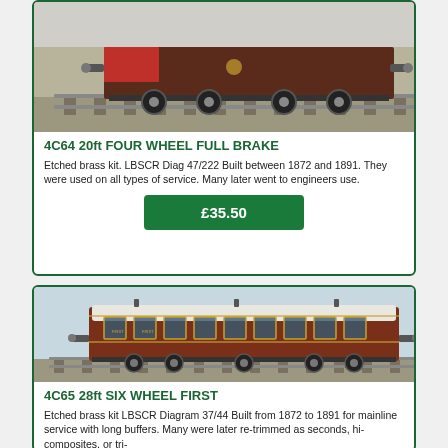[Figure (photo): Photo of 4C64 20ft Four Wheel Full Brake model train - a dark brown/maroon wagon on track]
4C64 20ft FOUR WHEEL FULL BRAKE
Etched brass kit. LBSCR Diag 47/222 Built between 1872 and 1891. They were used on all types of service. Many later went to engineers use.
£35.50
[Figure (photo): Photo of 4C65 28ft Six Wheel First model train - a long brown passenger coach on track]
4C65 28ft SIX WHEEL FIRST
Etched brass kit LBSCR Diagram 37/44 Built from 1872 to 1891 for mainline service with long buffers. Many were later re-trimmed as seconds, hi-composites, or tri-